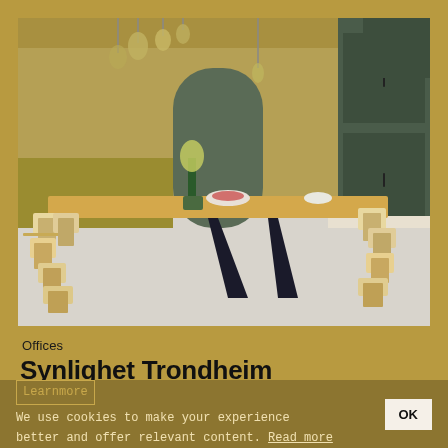[Figure (photo): Interior photo of a modern office kitchen/dining area with a long wooden table, light wooden chairs, pendant lights hanging from ceiling, olive/khaki colored walls, and dark green cabinetry in the background.]
Offices
Synlighet Trondheim
We use cookies to make your experience better and offer relevant content. Read more